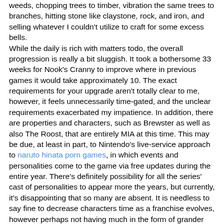weeds, chopping trees to timber, vibration the same trees to branches, hitting stone like claystone, rock, and iron, and selling whatever I couldn't utilize to craft for some excess bells. While the daily is rich with matters todo, the overall progression is really a bit sluggish. It took a bothersome 33 weeks for Nook's Cranny to improve where in previous games it would take approximately 10. The exact requirements for your upgrade aren't totally clear to me, however, it feels unnecessarily time-gated, and the unclear requirements exacerbated my impatience. In addition, there are properties and characters, such as Brewster as well as also The Roost, that are entirely MIA at this time. This may be due, at least in part, to Nintendo's live-service approach to naruto hinata porn games, in which events and personalities come to the game via free updates during the entire year. There's definitely possibility for all the series' cast of personalities to appear more the years, but currently, it's disappointing that so many are absent. It is needless to say fine to decrease characters time as a franchise evolves, however perhaps not having much in the form of grander infrastructure to operate at (whether returning or new ) sets a damper on the feeling of building a city from scratch. You begin using an variety of crafting recipes, also you'll be able to get fresh ones in an assortment of ways that, such as resource-gathering, are an all organic extension of this existing star wars porno game formula. You can get some of those, discover new ones days cleaned up around the beach (in communication ribbons together with letters attached, of course), or purchase them in your neighbors, among other methods. Discovering a brand new recipe is a fascinating reward for moving on daily because crafting goes outside tools and furniture --I've found several surprising and creative recipes with ingredients that I did not expect, including a huge teddybear you can craft with routine bears you could purchase from Timmy and Tommy. The overall game which gives you creative freedom and a lot more to do on any given day when keeping everything creates the series staples updated and lifts this into a life, at least at this writing.